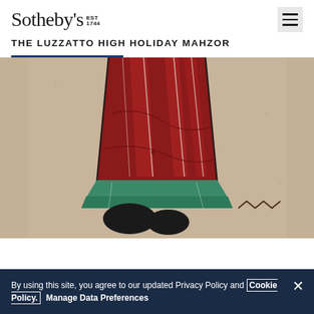Sotheby's EST 1744
THE LUZZATTO HIGH HOLIDAY MAHZOR
[Figure (photo): Close-up detail of an illuminated manuscript page showing a figure in red robes with green accents at the bottom, set against a parchment-colored background. The figure appears to be a medieval illustration from the Luzzatto High Holiday Mahzor.]
By using this site, you agree to our updated Privacy Policy and Cookie Policy. Manage Data Preferences